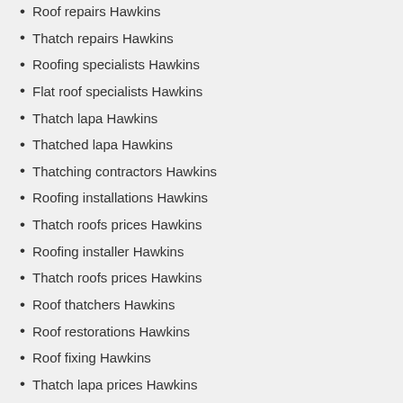Roof repairs Hawkins
Thatch repairs Hawkins
Roofing specialists Hawkins
Flat roof specialists Hawkins
Thatch lapa Hawkins
Thatched lapa Hawkins
Thatching contractors Hawkins
Roofing installations Hawkins
Thatch roofs prices Hawkins
Roofing installer Hawkins
Thatch roofs prices Hawkins
Roof thatchers Hawkins
Roof restorations Hawkins
Roof fixing Hawkins
Thatch lapa prices Hawkins
Roofing contractor Hawkins
Bamboo thatching Hawkins
Thatching services Hawkins
Thatching reed Hawkins
Thatched lapa prices Hawkins
Thatched garden gazebos Hawkins
Roofing repairs Hawkins
Roof repairs company Hawkins
Thatch roof maintenance Hawkins
Thatching installations installers Hawkins
Thatching prices Hawkins
Slate roofing repairs Hawkins